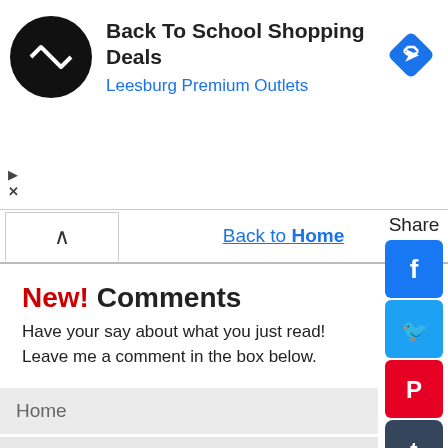[Figure (screenshot): Advertisement banner for Back To School Shopping Deals at Leesburg Premium Outlets, with black circular logo with arrow icon, and blue diamond navigation icon on the right.]
Back to Home
[Figure (screenshot): Social media share sidebar with icons for Facebook, Twitter, Pinterest, Tumblr, Reddit, WhatsApp, and Messenger]
New! Comments
Have your say about what you just read! Leave me a comment in the box below.
Home
Welcome
Tech Talk (Blog)
Low-Cost Books
PharmTech E-Books